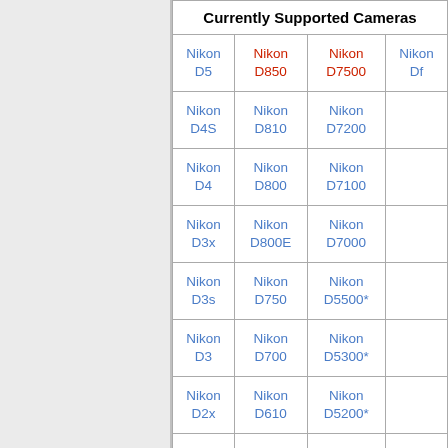| Currently Supported Cameras |  |  |  |
| --- | --- | --- | --- |
| Nikon D5 | Nikon D850 | Nikon D7500 | Nikon Df |
| Nikon D4S | Nikon D810 | Nikon D7200 |  |
| Nikon D4 | Nikon D800 | Nikon D7100 |  |
| Nikon D3x | Nikon D800E | Nikon D7000 |  |
| Nikon D3s | Nikon D750 | Nikon D5500* |  |
| Nikon D3 | Nikon D700 | Nikon D5300* |  |
| Nikon D2x | Nikon D610 | Nikon D5200* |  |
|  | Nikon D600 | Nikon D5100* |  |
|  | Nikon ... | Nikon ... |  |